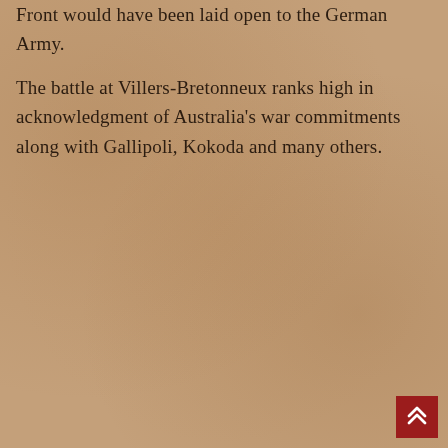Front would have been laid open to the German Army.
The battle at Villers-Bretonneux ranks high in acknowledgment of Australia's war commitments along with Gallipoli, Kokoda and many others.